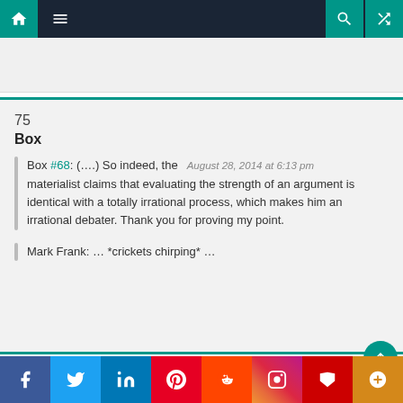Navigation bar with home, menu, search, and random icons
75
Box
Box #68: (....) So indeed, the materialist claims that evaluating the strength of an argument is identical with a totally irrational process, which makes him an irrational debater. Thank you for proving my point.
August 28, 2014 at 6:13 pm
Mark Frank: … *crickets chirping* …
Social share bar: Facebook, Twitter, LinkedIn, Pinterest, Reddit, Instagram, Flipboard, More